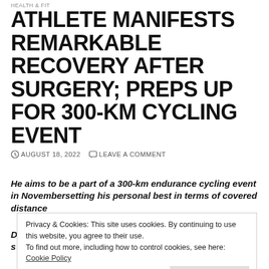HEALTH & FIT
ATHLETE MANIFESTS REMARKABLE RECOVERY AFTER SURGERY; PREPS UP FOR 300-KM CYCLING EVENT
AUGUST 18, 2022   LEAVE A COMMENT
He aims to be a part of a 300-km endurance cycling event in Novembersetting his personal best in terms of covered distance
D
s
Privacy & Cookies: This site uses cookies. By continuing to use this website, you agree to their use.
To find out more, including how to control cookies, see here: Cookie Policy
Close and accept